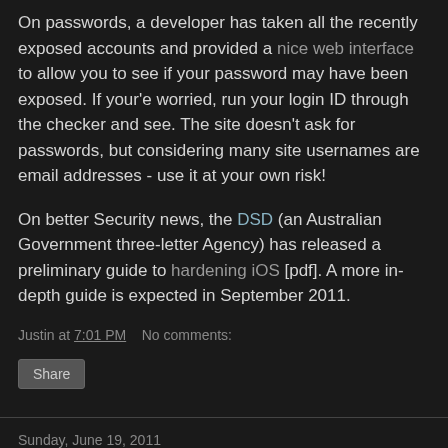On passwords, a developer has taken all the recently exposed accounts and provided a nice web interface to allow you to see if your password may have been exposed. If your'e worried, run your login ID through the checker and see. The site doesn't ask for passwords, but considering many site usernames are email addresses - use it at your own risk!
On better Security news, the DSD (an Australian Government three-letter Agency) has released a preliminary guide to hardening iOS [pdf]. A more in-depth guide is expected in September 2011.
Justin at 7:01 PM    No comments:
Share
Sunday, June 19, 2011
The Wild West
A friend passed this report [pdf] into Information Systems